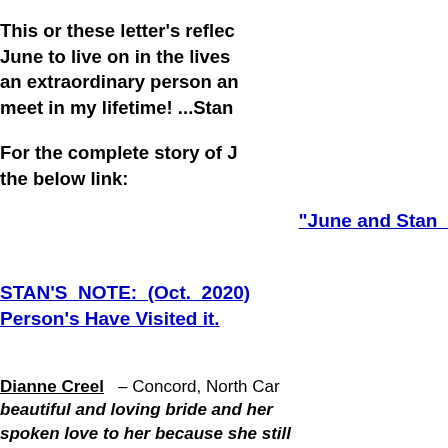This or these letter's reflec June to live on in the lives an extraordinary person an meet in my lifetime! ...Stan
For the complete story of J the below link:
"June and Stan
STAN'S NOTE: (Oct. 2020) Person's Have Visited it.
Dianne Creel – Concord, North Car beautiful and loving bride and her spoken love to her because she still still had a heart that beat and I kn between another. Blessings and love